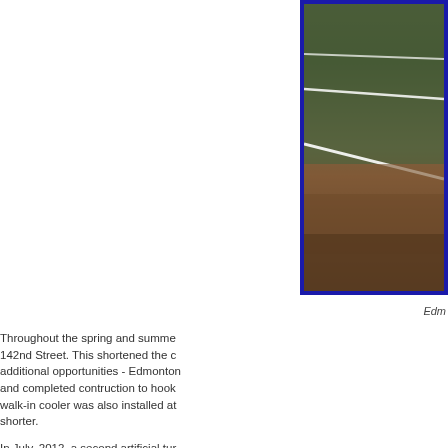[Figure (photo): Aerial/ground view of an artificial turf sports field with white yard lines visible, showing green turf and brown/dirt areas along the edge, framed with a blue border.]
Edm
Throughout the spring and summe 142nd Street. This shortened the c additional opportunities - Edmonton and completed contruction to hook walk-in cooler was also installed at shorter.
In July, 2012, a second artificial tur